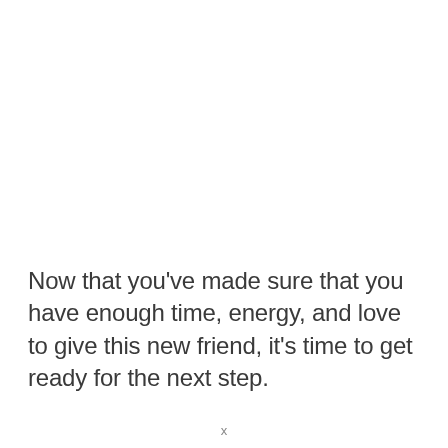Now that you've made sure that you have enough time, energy, and love to give this new friend, it's time to get ready for the next step.
x